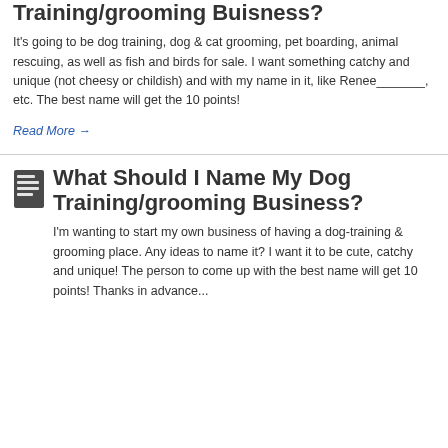Training/grooming Buisness?
It's going to be dog training, dog & cat grooming, pet boarding, animal rescuing, as well as fish and birds for sale. I want something catchy and unique (not cheesy or childish) and with my name in it, like Renee_______, etc. The best name will get the 10 points!
Read More →
What Should I Name My Dog Training/grooming Business?
I'm wanting to start my own business of having a dog-training & grooming place. Any ideas to name it? I want it to be cute, catchy and unique! The person to come up with the best name will get 10 points! Thanks in advance...